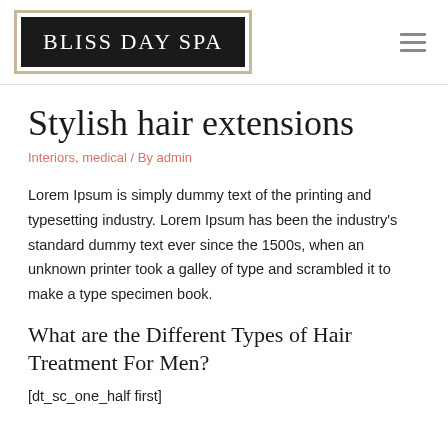BLISS DAY SPA
Stylish hair extensions
Interiors, medical / By admin
Lorem Ipsum is simply dummy text of the printing and typesetting industry. Lorem Ipsum has been the industry's standard dummy text ever since the 1500s, when an unknown printer took a galley of type and scrambled it to make a type specimen book.
What are the Different Types of Hair Treatment For Men?
[dt_sc_one_half first]